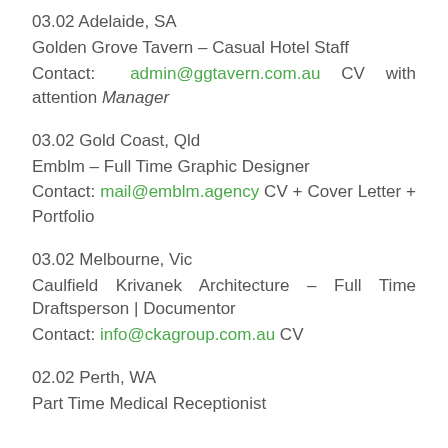03.02 Adelaide, SA
Golden Grove Tavern – Casual Hotel Staff
Contact: admin@ggtavern.com.au CV with attention Manager
03.02 Gold Coast, Qld
Emblm – Full Time Graphic Designer
Contact: mail@emblm.agency CV + Cover Letter + Portfolio
03.02 Melbourne, Vic
Caulfield Krivanek Architecture – Full Time Draftsperson | Documentor
Contact: info@ckagroup.com.au CV
02.02 Perth, WA
Part Time Medical Receptionist